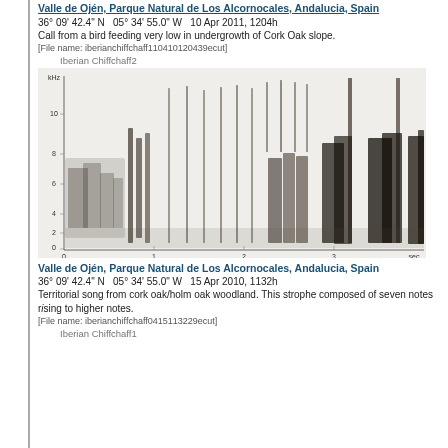Valle de Ojén, Parque Natural de Los Alcornocales, Andalucia, Spain
36° 09' 42.4" N  05° 34' 55.0" W  10 Apr 2011, 1204h
Call from a bird feeding very low in undergrowth of Cork Oak slope.
[File name: iberianchiffchaff110410120439ecut]
Iberian Chiffchaff2
[Figure (continuous-plot): Spectrogram (sonogram) of Iberian Chiffchaff2 bird call, showing frequency (kHz, 0-10+) vs time (0-3+ seconds). The spectrogram shows complex call patterns with vertical streaks and broadband elements increasing in amplitude toward the right.]
Valle de Ojén, Parque Natural de Los Alcornocales, Andalucia, Spain
36° 09' 42.4" N  05° 34' 55.0" W  15 Apr 2010, 1132h
Territorial song from cork oak/holm oak woodland. This strophe composed of seven notes rising to higher notes.
[File name: iberianchiffchaff0415113229ecut]
Iberian Chiffchaff1